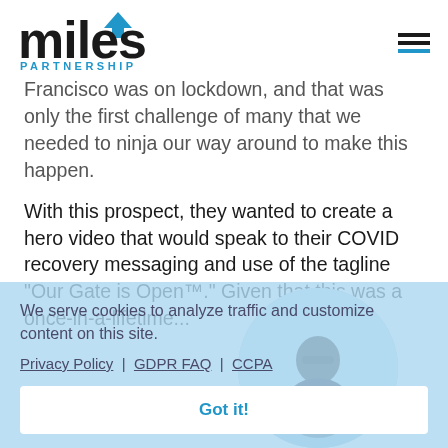miles PARTNERSHIP
Francisco was on lockdown, and that was only the first challenge of many that we needed to ninja our way around to make this happen.
With this prospect, they wanted to create a hero video that would speak to their COVID recovery messaging and use of the tagline “Our Gate is Open™.”  Given that this was a once-in-a-lifetime...
We serve cookies to analyze traffic and customize content on this site.
Privacy Policy | GDPR FAQ | CCPA
[Figure (photo): Woman with sunglasses outdoors, circular cropped photo]
Got it!